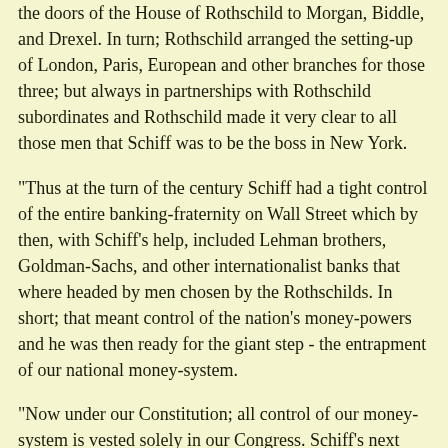the doors of the House of Rothschild to Morgan, Biddle, and Drexel. In turn; Rothschild arranged the setting-up of London, Paris, European and other branches for those three; but always in partnerships with Rothschild subordinates and Rothschild made it very clear to all those men that Schiff was to be the boss in New York.
"Thus at the turn of the century Schiff had a tight control of the entire banking-fraternity on Wall Street which by then, with Schiff's help, included Lehman brothers, Goldman-Sachs, and other internationalist banks that where headed by men chosen by the Rothschilds. In short; that meant control of the nation's money-powers and he was then ready for the giant step - the entrapment of our national money-system.
"Now under our Constitution; all control of our money-system is vested solely in our Congress. Schiff's next important step was to seduce our Congress to betray that Constitutional edict by surrendering that control to the hierarchy of the Illuminati's great conspiracy. In order to legalize that surrender and thus make the people powerless to resist it, it would be necessary to have Congress enact